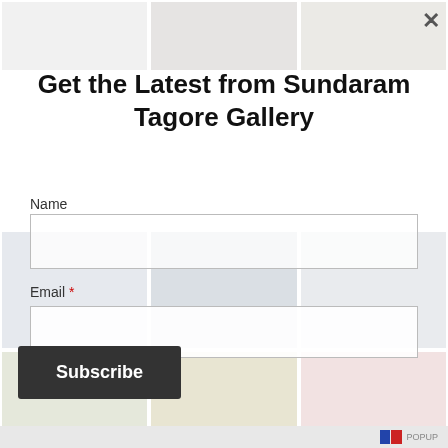[Figure (photo): Top row of gallery artwork thumbnails partially visible behind modal]
Get the Latest from Sundaram Tagore Gallery
[Figure (photo): Middle row of gallery artwork thumbnails (blue geometric art, box sculpture, blue flower pinwheel) partially visible]
Name
Email *
[Figure (photo): Bottom row of gallery artwork thumbnails (colorful prints, mixed media, red line drawing) partially visible]
Subscribe